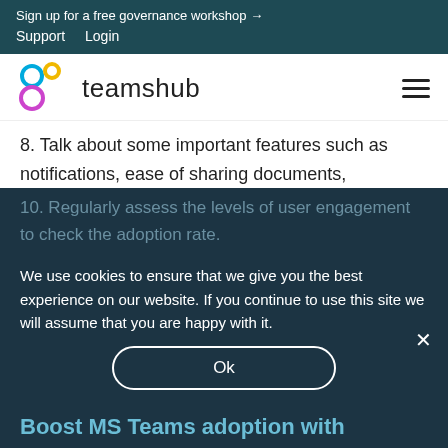Sign up for a free governance workshop →
Support   Login
[Figure (logo): Teamshub logo with colorful interlocking circles (blue, yellow, magenta) and the text 'teamshub' in light sans-serif font]
8. Talk about some important features such as notifications, ease of sharing documents, enhanced security in MS Teams etc.
9. Give a shout-out and raise awareness about
10. Regularly assess the levels of user engagement to check the adoption rate.
We use cookies to ensure that we give you the best experience on our website. If you continue to use this site we will assume that you are happy with it.
Ok
Boost MS Teams adoption with